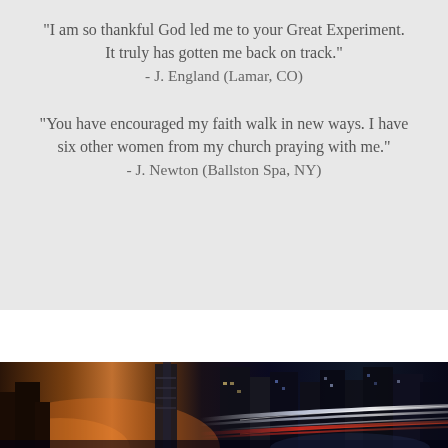"I am so thankful God led me to your Great Experiment. It truly has gotten me back on track." - J. England (Lamar, CO)
"You have encouraged my faith walk in new ways. I have six other women from my church praying with me." - J. Newton (Ballston Spa, NY)
[Figure (photo): Nighttime cityscape with tall skyscrapers and light trails from fast-moving traffic or vehicles, warm orange glowing lights on the left side and cool blue-white light streaks on the right side.]